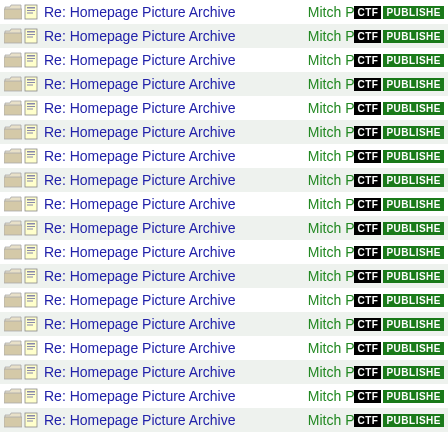Re: Homepage Picture Archive - Mitch P CTF PUBLISHER
Re: Homepage Picture Archive - Mitch P CTF PUBLISHER
Re: Homepage Picture Archive - Mitch P CTF PUBLISHER
Re: Homepage Picture Archive - Mitch P CTF PUBLISHER
Re: Homepage Picture Archive - Mitch P CTF PUBLISHER
Re: Homepage Picture Archive - Mitch P CTF PUBLISHER
Re: Homepage Picture Archive - Mitch P CTF PUBLISHER
Re: Homepage Picture Archive - Mitch P CTF PUBLISHER
Re: Homepage Picture Archive - Mitch P CTF PUBLISHER
Re: Homepage Picture Archive - Mitch P CTF PUBLISHER
Re: Homepage Picture Archive - Mitch P CTF PUBLISHER
Re: Homepage Picture Archive - Mitch P CTF PUBLISHER
Re: Homepage Picture Archive - Mitch P CTF PUBLISHER
Re: Homepage Picture Archive - Mitch P CTF PUBLISHER
Re: Homepage Picture Archive - Mitch P CTF PUBLISHER
Re: Homepage Picture Archive - Mitch P CTF PUBLISHER
Re: Homepage Picture Archive - Mitch P CTF PUBLISHER
Re: Homepage Picture Archive - Mitch P CTF PUBLISHER